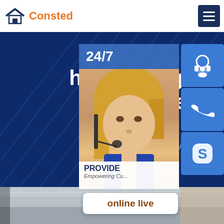[Figure (logo): Consted logo with house icon in blue and orange text]
[Figure (screenshot): Hamburger menu icon on dark navy background]
hot rolled gb t 9711 l... pipeline stee...
Home » AH36 steel
[Figure (infographic): Customer service widget: 24/7 bar, headset icon, phone icon, Skype icon, customer rep photo, PROVIDE / Empowering Cu... text, online live button]
[Figure (photo): Steel plate/sheet photo at bottom of page]